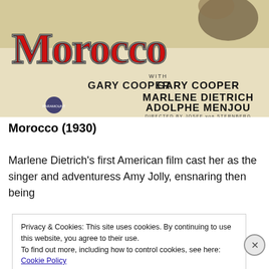[Figure (illustration): Vintage movie poster for Morocco (1930) featuring the title in large red cursive letters, with cast names Gary Cooper, Marlene Dietrich, Adolphe Menjou, and directed by Josef von Sternberg. A Paramount Pictures logo is visible bottom left. Background shows illustrated figures of a person riding a horse.]
Morocco (1930)
Marlene Dietrich's first American film cast her as the singer and adventuress Amy Jolly, ensnaring then being
Privacy & Cookies: This site uses cookies. By continuing to use this website, you agree to their use.
To find out more, including how to control cookies, see here: Cookie Policy
Close and accept